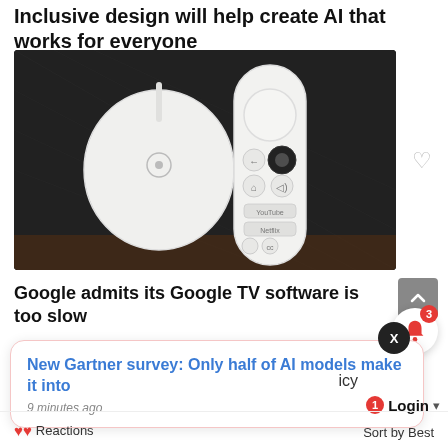Inclusive design will help create AI that works for everyone
[Figure (photo): Photo of a white Google Chromecast device and white Google TV remote control resting on a dark speaker/soundbar surface]
Google admits its Google TV software is too slow
New Gartner survey: Only half of AI models make it into
9 minutes ago
icy
Login
Sort by Best